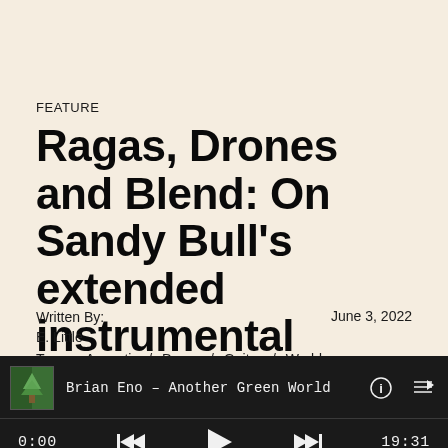FEATURE
Ragas, Drones and Blend: On Sandy Bull's extended instrumental masterpiece
Written By:
E. Little
June 3, 2022
Tags:  Acoustic / Drone / Guitar / World
[Figure (screenshot): Music player bar showing album art for Brian Eno – Another Green World, with playback controls, time 0:00 and duration 19:31]